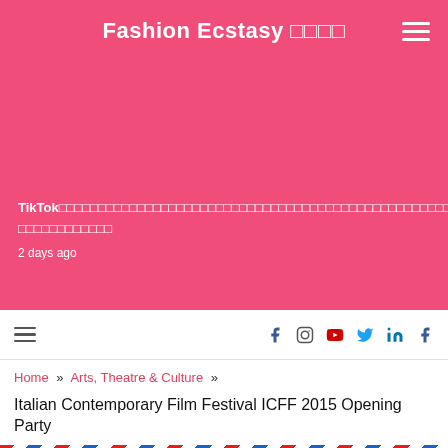Fashion Ecstasy 🩷🩷🩷🩷
TikTok□□□□□□□□□□□□□□□□□□□□□□□□□□□□□□□□□□□□□□□□□□□□□□□□□□□□□□□□□
□□□□□□□□□□□□
2 days ago
TikT□
tea □
2 day
[Figure (photo): Thumbnail photo showing wooden shelving or furniture with items inside]
Home » Arts, Theatre & Culture »
Italian Contemporary Film Festival ICFF 2015 Opening Party
□□□□□Subscribe to Our